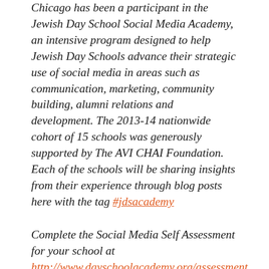Chicago has been a participant in the Jewish Day School Social Media Academy, an intensive program designed to help Jewish Day Schools advance their strategic use of social media in areas such as communication, marketing, community building, alumni relations and development. The 2013-14 nationwide cohort of 15 schools was generously supported by The AVI CHAI Foundation.  Each of the schools will be sharing insights from their experience through blog posts here with the tag #jdsacademy
Complete the Social Media Self Assessment for your school at http://www.dayschoolacademy.org/assessment